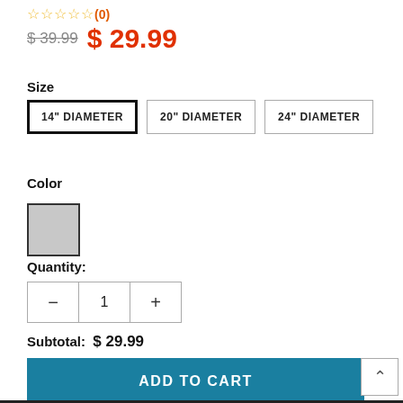☆☆☆☆☆ (0)
$39.99  $29.99
Size
14" DIAMETER   20" DIAMETER   24" DIAMETER
Color
[Figure (other): Grey color swatch square]
Quantity:
— 1 +
Subtotal:  $ 29.99
ADD TO CART